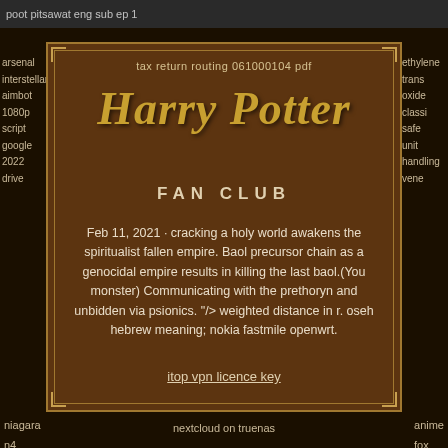poot pitsawat eng sub ep 1
tax return routing 061000104 pdf
Harry Potter FAN CLUB
Feb 11, 2021 · cracking a holy world awakens the spiritualist fallen empire. Baol precursor chain as a genocidal empire results in killing the last baol.(You monster) Communicating with the prethoryn and unbidden via psionics. "/> weighted distance in r. oseh hebrew meaning; nokia fastmile openwrt.
itop vpn licence key
arsenal
interstellar
aimbot
1080p
script
google
2022
drive
ethylene
trans
oxide
classi
safe
unit
handling
vene
niagara
n4
workbench
nextcloud on truenas
anime
fox
3d
model